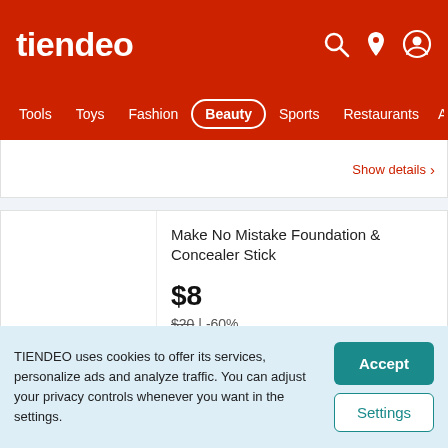tiendeo
Tools  Toys  Fashion  Beauty  Sports  Restaurants  Au
Show details ›
Make No Mistake Foundation & Concealer Stick
$8
$20 | -60%
⏱ 7 days left
Show details ›
TIENDEO uses cookies to offer its services, personalize ads and analyze traffic. You can adjust your privacy controls whenever you want in the settings.